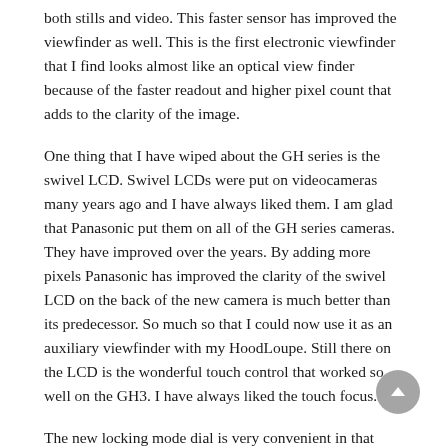both stills and video. This faster sensor has improved the viewfinder as well. This is the first electronic viewfinder that I find looks almost like an optical view finder because of the faster readout and higher pixel count that adds to the clarity of the image.
One thing that I have wiped about the GH series is the swivel LCD. Swivel LCDs were put on videocameras many years ago and I have always liked them. I am glad that Panasonic put them on all of the GH series cameras. They have improved over the years. By adding more pixels Panasonic has improved the clarity of the swivel LCD on the back of the new camera is much better than its predecessor. So much so that I could now use it as an auxiliary viewfinder with my HoodLoupe. Still there on the LCD is the wonderful touch control that worked so well on the GH3. I have always liked the touch focus.
The new locking mode dial is very convenient in that when you push it down it locks the dial. Leave it up and the dial spins freely. This is a better arrangement than having to hold the button down to turn the dial like I'm some other cameras. I like being able to lock the mode to movie shooting.
It is wonderful that the improvements that come with the GH3 are still